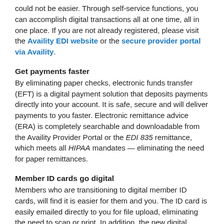could not be easier. Through self-service functions, you can accomplish digital transactions all at one time, all in one place. If you are not already registered, please visit the Availity EDI website or the secure provider portal via Availity.
Get payments faster
By eliminating paper checks, electronic funds transfer (EFT) is a digital payment solution that deposits payments directly into your account. It is safe, secure and will deliver payments to you faster. Electronic remittance advice (ERA) is completely searchable and downloadable from the Availity Provider Portal or the EDI 835 remittance, which meets all HIPAA mandates — eliminating the need for paper remittances.
Member ID cards go digital
Members who are transitioning to digital member ID cards, will find it is easier for them and you. The ID card is easily emailed directly to you for file upload, eliminating the need to scan or print. In addition, the new digital member ID card can be directly accessed through the secure provider portal via Availity. Providers should begin accepting the digital member ID cards when presented by the member.